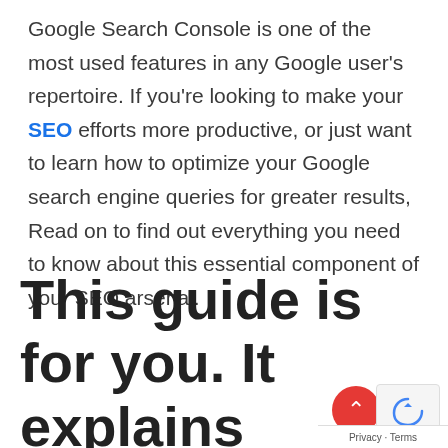Google Search Console is one of the most used features in any Google user's repertoire. If you're looking to make your SEO efforts more productive, or just want to learn how to optimize your Google search engine queries for greater results, Read on to find out everything you need to know about this essential component of your SEO arsenal.
This guide is for you. It explains everything you need to know about usi…
Privacy · Terms